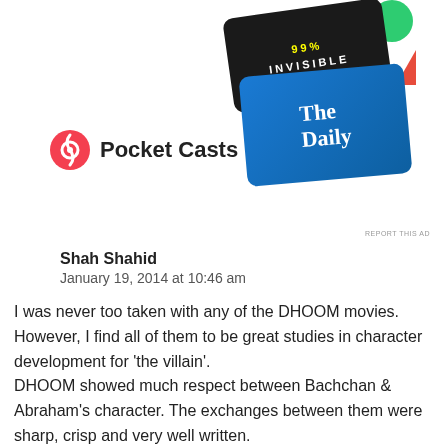[Figure (illustration): Advertisement banner for Pocket Casts app showing podcast app cards including '99% Invisible' (black card) and 'The Daily' (blue card), with Pocket Casts logo and name on the left]
REPORT THIS AD
Shah Shahid
January 19, 2014 at 10:46 am
I was never too taken with any of the DHOOM movies. However, I find all of them to be great studies in character development for 'the villain'.
DHOOM showed much respect between Bachchan & Abraham's character. The exchanges between them were sharp, crisp and very well written.
Same can be said with Roshan in DHOOM 2, where the villain's back story was fleshed out a bit more on a personal relationship level.
DHOOM 3 seems to have gone a step further and make the